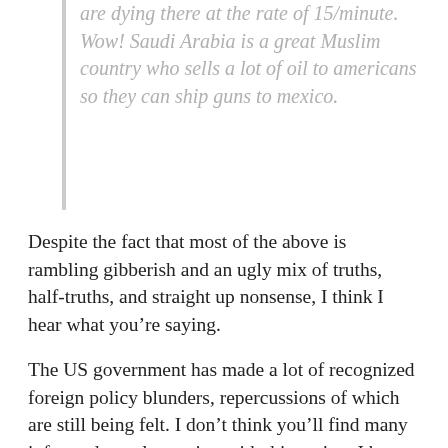are dying there at the rate of 15/minute. Wow! Saudi Arabia is a great Muslim country who sells a lot of oil to americans so they can ship guns to mexico.
Despite the fact that most of the above is rambling gibberish and an ugly mix of truths, half-truths, and straight up nonsense, I think I hear what you’re saying.
The US government has made a lot of recognized foreign policy blunders, repercussions of which are still being felt. I don’t think you’ll find many informed people arguing with this notion. I have just read an interesting article discussing some of the underlying reasons for the current tension between the East